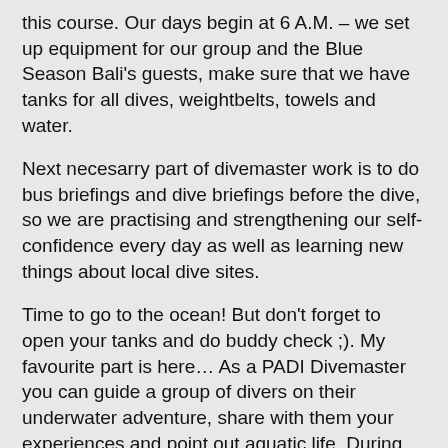this course. Our days begin at 6 A.M. – we set up equipment for our group and the Blue Season Bali's guests, make sure that we have tanks for all dives, weightbelts, towels and water.
Next necesarry part of divemaster work is to do bus briefings and dive briefings before the dive, so we are practising and strengthening our self-confidence every day as well as learning new things about local dive sites.
Time to go to the ocean! But don't forget to open your tanks and do buddy check ;). My favourite part is here… As a PADI Divemaster you can guide a group of divers on their underwater adventure, share with them your experiences and point out aquatic life. During this awesome time I still have to remember that it is my responsibility to check air through out the dive and keep an eye on the depth, dive time and no deco time.